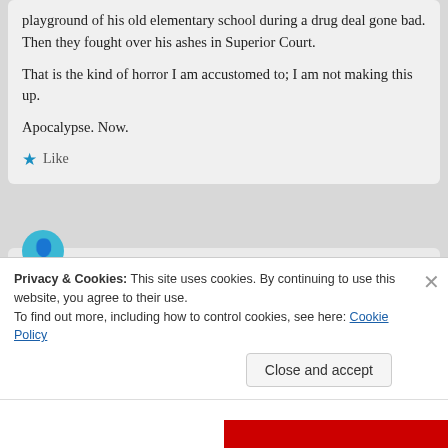playground of his old elementary school during a drug deal gone bad. Then they fought over his ashes in Superior Court.

That is the kind of horror I am accustomed to; I am not making this up.

Apocalypse. Now.
Like
Experience Film
October 24, 2020 at 3:41 pm
Privacy & Cookies: This site uses cookies. By continuing to use this website, you agree to their use. To find out more, including how to control cookies, see here: Cookie Policy
Close and accept